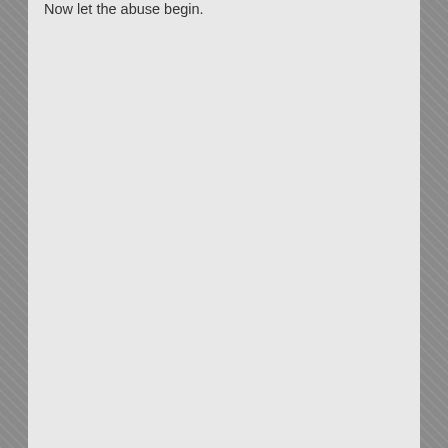died for that freedom; the least the church can do is pay their taxes for it.  As of now they have the "freedom" to collect untold amounts of cash, live lavish lifestyles and not pay a dime of tax on it.  Nor do they have to disclose how much or where it comes from; a "freedom" no one else in this country has.  For each dollar they collect they have a dollars worth of buying power, far more than you will ever have.  And hey, if you like North Korea so much I have a ticket in your name.  I'm sure most people on this forum would welcome the opportunity for you to sample North Korea's "freedoms", which, hopefully, do not come with internet access.
Now let the abuse begin.
2  Sea ORG Refuge / Re: Inside Scientologyâ€™s strict Sea Org
« on: July 09, 2012, 12:01:08 AM »
It sucks but they couldn't do it without their tax exempt status and all those tax deductible donations.  Its waaaaaaaaaay past time to rescind the special privelges held by religious